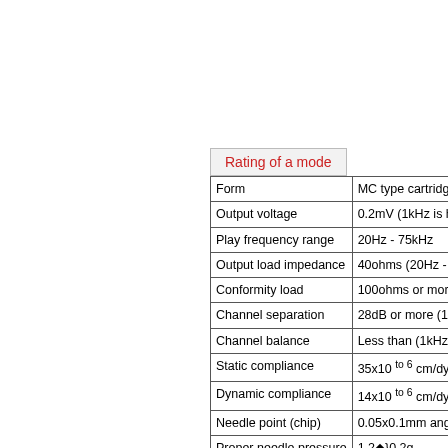| Form | MC type cartridge |
| --- | --- |
| Form | MC type cartridge |
| Output voltage | 0.2mV (1kHz is horizontal |
| Play frequency range | 20Hz - 75kHz |
| Output load impedance | 40ohms (20Hz - 20kHz) |
| Conformity load | 100ohms or more (about [ |
| Channel separation | 28dB or more (1kHz) |
| Channel balance | Less than (1kHz) 1dB |
| Static compliance | 35x10 to 6 cm/dyne |
| Dynamic compliance | 14x10 to 6 cm/dyne (100Hz |
| Needle point (chip) | 0.05x0.1mm angle solid di |
| Proper needle pressure | 1.2◆}0.2g |
| Tare | 5.8g |
| Needle exchange | Main part exchange (\39,0 |